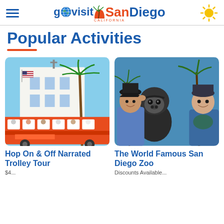go visit San Diego — govisitsandiego.com
Popular Activities
[Figure (photo): Orange trolley tour bus in front of a white building with a palm tree and US flag]
Hop On & Off Narrated Trolley Tour
[Figure (photo): Two children posing with a gorilla statue at the San Diego Zoo, with palm trees in background]
The World Famous San Diego Zoo